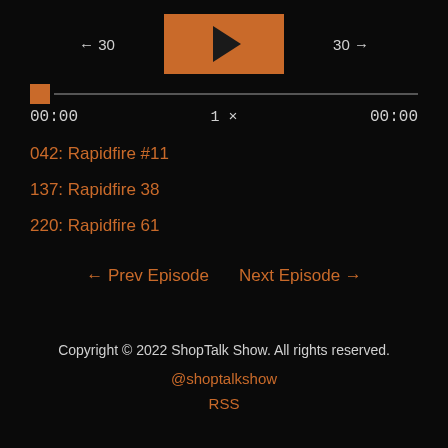[Figure (other): Podcast player UI with skip back 30, play button, skip forward 30 controls]
00:00   1×   00:00
042: Rapidfire #11
137: Rapidfire 38
220: Rapidfire 61
← Prev Episode   Next Episode →
Copyright © 2022 ShopTalk Show. All rights reserved.
@shoptalkshow
RSS